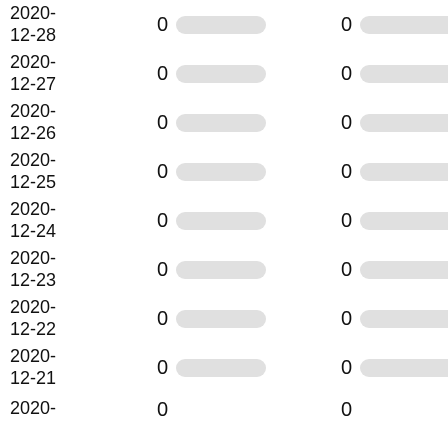| Date | Value1 | Bar1 | Value2 | Bar2 |
| --- | --- | --- | --- | --- |
| 2020-12-28 | 0 |  | 0 |  |
| 2020-12-27 | 0 |  | 0 |  |
| 2020-12-26 | 0 |  | 0 |  |
| 2020-12-25 | 0 |  | 0 |  |
| 2020-12-24 | 0 |  | 0 |  |
| 2020-12-23 | 0 |  | 0 |  |
| 2020-12-22 | 0 |  | 0 |  |
| 2020-12-21 | 0 |  | 0 |  |
| 2020- | 0 |  | 0 |  |